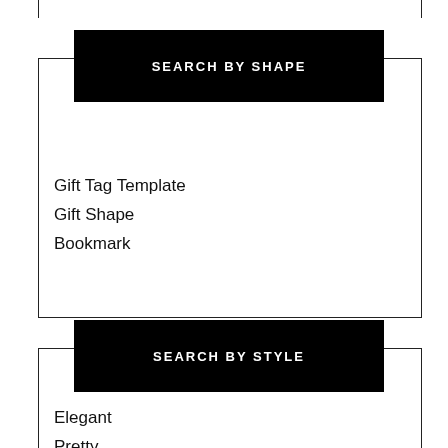SEARCH BY SHAPE
Gift Tag Template
Gift Shape
Bookmark
SEARCH BY STYLE
Elegant
Pretty
Creative